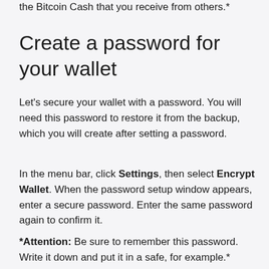the Bitcoin Cash that you receive from others.*
Create a password for your wallet
Let's secure your wallet with a password. You will need this password to restore it from the backup, which you will create after setting a password.
In the menu bar, click Settings, then select Encrypt Wallet. When the password setup window appears, enter a secure password. Enter the same password again to confirm it.
*Attention: Be sure to remember this password. Write it down and put it in a safe, for example.*